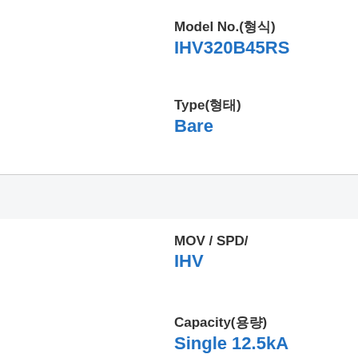Model No.(형식)
IHV320B45RS
Type(형태)
Bare
MOV / SPD/
IHV
Capacity(용량)
Single 12.5kA
Model No.(형식)
IHV350B45RS